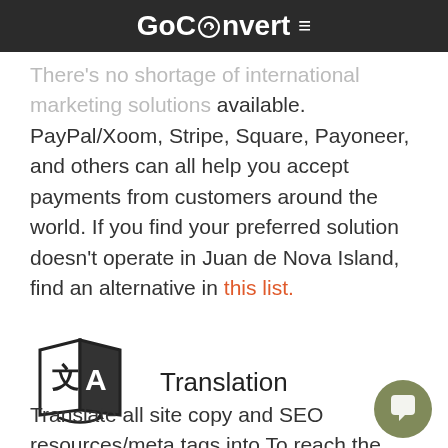GoConvert ≡
There's no shortage of international marketing solutions available. PayPal/Xoom, Stripe, Square, Payoneer, and others can all help you accept payments from customers around the world. If you find your preferred solution doesn't operate in Juan de Nova Island, find an alternative in this list.
[Figure (illustration): Translation icon showing letter A with Chinese character and arrows indicating translation]
Translation
Translate all site copy and SEO resources/meta tags into To reach the greatest number of people in Nova Island, translate all site copy and SEO